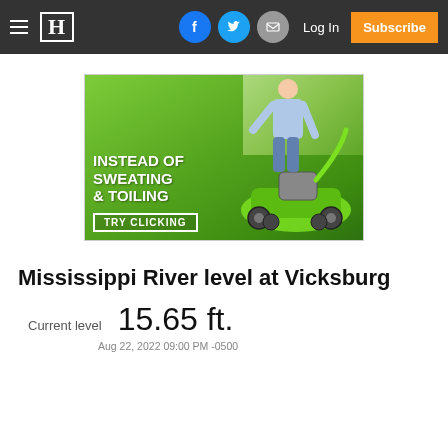Mississippi Valley Publishing — navigation header with menu, logo, social icons, Log In, Subscribe
[Figure (photo): Advertisement image showing a person pushing a green lawn mower on a green yard, with text overlay: 'INSTEAD OF SWEATING & TOILING' and a button reading 'TRY CLICKING']
Mississippi River level at Vicksburg
Current level   15.65 ft.
Aug 22, 2022 09:00 PM -0500